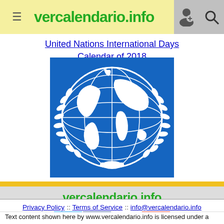vercalendario.info
United Nations International Days Calendar of 2018
[Figure (illustration): United Nations emblem — white globe and laurel wreath on blue background]
[Figure (logo): vercalendario.info logo with social media icons: Twitter, Facebook, YouTube, Google+]
Privacy Policy :: Terms of Service :: info@vercalendario.info
Text content shown here by www.vercalendario.info is licensed under a Creative Commons Attribution-ShareAlike 3.0 Unported License, unless